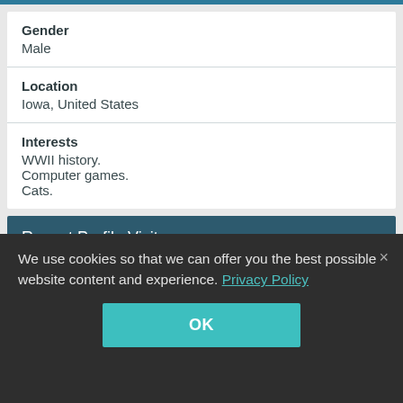Gender
Male
Location
Iowa, United States
Interests
WWII history.
Computer games.
Cats.
Recent Profile Visitors
8,874 profile views
We use cookies so that we can offer you the best possible website content and experience. Privacy Policy
OK